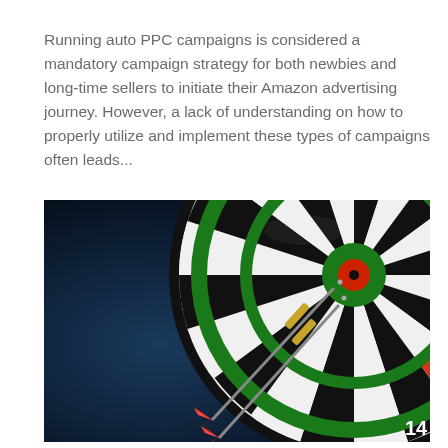Running auto PPC campaigns is considered a mandatory campaign strategy for both newbies and long-time sellers to initiate their Amazon advertising journey. However, a lack of understanding on how to properly utilize and implement these types of campaigns often leads...
[Figure (photo): Close-up photograph of a dartboard with two red darts stuck near the bullseye area. The dartboard shows segments with numbers 5, 12, 9, and 14 visible. The background is dark blue/black. The image is shot from an angle showing the right portion of the dartboard prominently.]